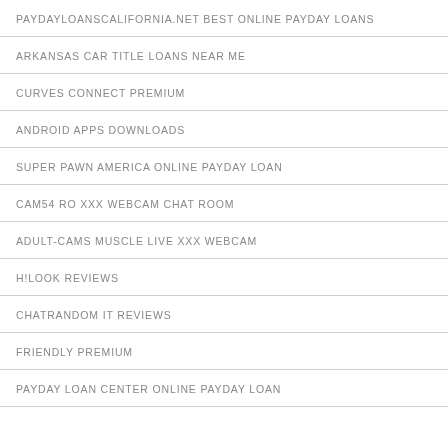PAYDAYLOANSCALIFORNIA.NET BEST ONLINE PAYDAY LOANS
ARKANSAS CAR TITLE LOANS NEAR ME
CURVES CONNECT PREMIUM
ANDROID APPS DOWNLOADS
SUPER PAWN AMERICA ONLINE PAYDAY LOAN
CAM54 RO XXX WEBCAM CHAT ROOM
ADULT-CAMS MUSCLE LIVE XXX WEBCAM
H!LOOK REVIEWS
CHATRANDOM IT REVIEWS
FRIENDLY PREMIUM
PAYDAY LOAN CENTER ONLINE PAYDAY LOAN